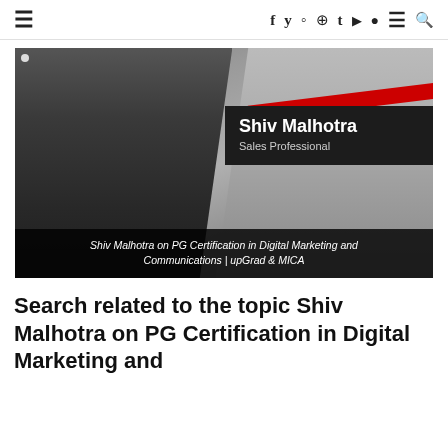≡  f y ⊙ ® t ▶ ● ≡ 🔍
[Figure (screenshot): Video thumbnail showing Shiv Malhotra, a sales professional, in a black and white office setting. A dark name card reads 'Shiv Malhotra / Sales Professional' with a red diagonal stripe accent. Caption below reads: 'Shiv Malhotra on PG Certification in Digital Marketing and Communications | upGrad & MICA']
Search related to the topic Shiv Malhotra on PG Certification in Digital Marketing and